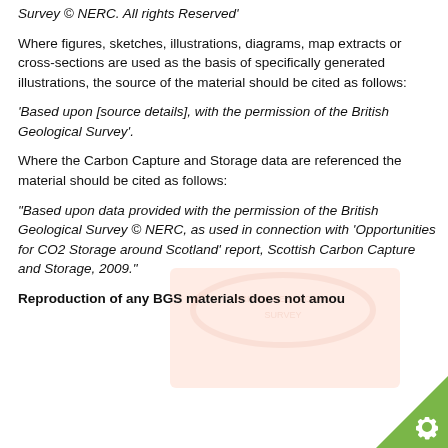Survey © NERC. All rights Reserved'
Where figures, sketches, illustrations, diagrams, map extracts or cross-sections are used as the basis of specifically generated illustrations, the source of the material should be cited as follows:
'Based upon [source details], with the permission of the British Geological Survey'.
Where the Carbon Capture and Storage data are referenced the material should be cited as follows:
"Based upon data provided with the permission of the British Geological Survey © NERC, as used in connection with 'Opportunities for CO2 Storage around Scotland' report, Scottish Carbon Capture and Storage, 2009."
Reproduction of any BGS materials does not amou